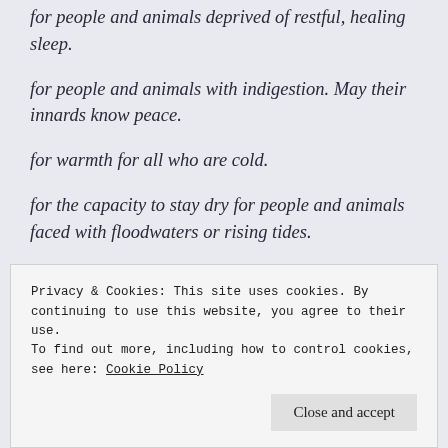for people and animals deprived of restful, healing sleep.
for people and animals with indigestion. May their innards know peace.
for warmth for all who are cold.
for the capacity to stay dry for people and animals faced with floodwaters or rising tides.
for animals and people with aches and pains in
Privacy & Cookies: This site uses cookies. By continuing to use this website, you agree to their use.
To find out more, including how to control cookies, see here: Cookie Policy